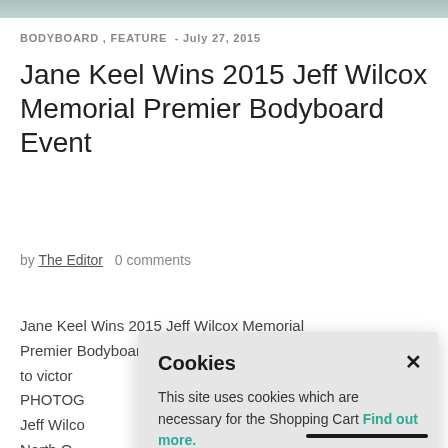[Figure (photo): Partial image strip at top of page, appears to be a surf/ocean scene in muted blue-grey tones]
BODYBOARD , FEATURE  -  July 27, 2015
Jane Keel Wins 2015 Jeff Wilcox Memorial Premier Bodyboard Event
by The Editor   0 comments
Jane Keel Wins 2015 Jeff Wilcox Memorial Premier Bodyboard Event (Top - Jane slides to victor... PHOTOG... Jeff Wilco... North O...
Cookies
×
This site uses cookies which are necessary for the Shopping Cart Find out more.